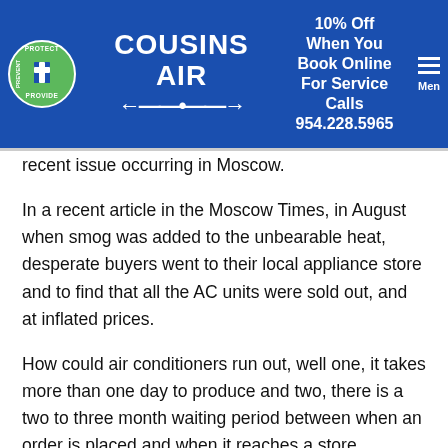COUSINS AIR — 10% Off When You Book Online For Service Calls 954.228.5965
recent issue occurring in Moscow.
In a recent article in the Moscow Times, in August when smog was added to the unbearable heat, desperate buyers went to their local appliance store and to find that all the AC units were sold out, and at inflated prices.
How could air conditioners run out, well one, it takes more than one day to produce and two, there is a two to three month waiting period between when an order is placed and when it reaches a store.
Another reason for the massive sell out is no one predicted the fires that would occur and the record high temperatures. The